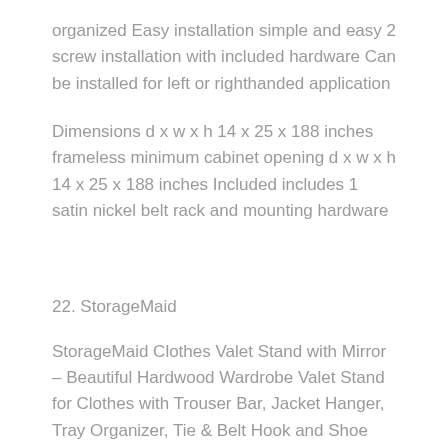organized Easy installation simple and easy 2 screw installation with included hardware Can be installed for left or righthanded application
Dimensions d x w x h 14 x 25 x 188 inches frameless minimum cabinet opening d x w x h 14 x 25 x 188 inches Included includes 1 satin nickel belt rack and mounting hardware
22. StorageMaid
StorageMaid Clothes Valet Stand with Mirror – Beautiful Hardwood Wardrobe Valet Stand for Clothes with Trouser Bar, Jacket Hanger, Tray Organizer, Tie & Belt Hook and Shoe Rack (Mahogany)